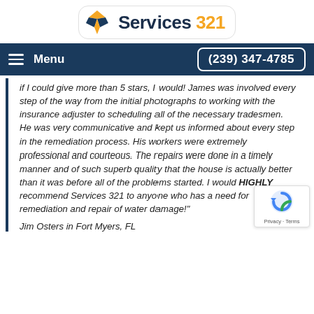[Figure (logo): Services 321 logo with navy and orange box icon and text 'Services 321']
Menu  (239) 347-4785
if I could give more than 5 stars, I would! James was involved every step of the way from the initial photographs to working with the insurance adjuster to scheduling all of the necessary tradesmen. He was very communicative and kept us informed about every step in the remediation process. His workers were extremely professional and courteous. The repairs were done in a timely manner and of such superb quality that the house is actually better than it was before all of the problems started. I would HIGHLY recommend Services 321 to anyone who has a need for remediation and repair of water damage!"
Jim Osters in Fort Myers, FL